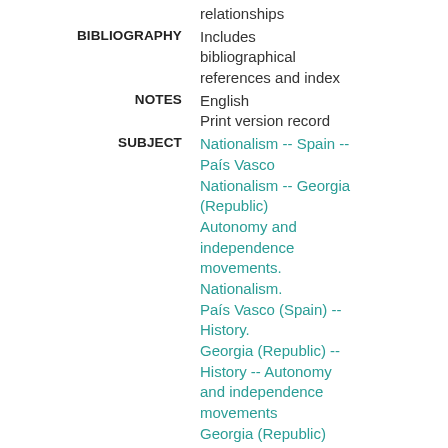relationships
BIBLIOGRAPHY
Includes bibliographical references and index
NOTES
English
Print version record
SUBJECT
Nationalism -- Spain -- País Vasco
Nationalism -- Georgia (Republic)
Autonomy and independence movements.
Nationalism.
País Vasco (Spain) -- History.
Georgia (Republic) -- History -- Autonomy and independence movements
Georgia (Republic)
Spain -- País Vasco.
GENRE/FORM
Electronic books